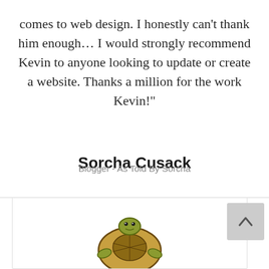comes to web design. I honestly can't thank him enough… I would strongly recommend Kevin to anyone looking to update or create a website. Thanks a million for the work Kevin!"
Sorcha Cusack
Blogger - As Told By Sorcha
[Figure (illustration): Partial view of an illustrated turtle/tortoise character logo at the bottom of the page, with a scroll-to-top button (chevron up arrow) in the bottom right corner]